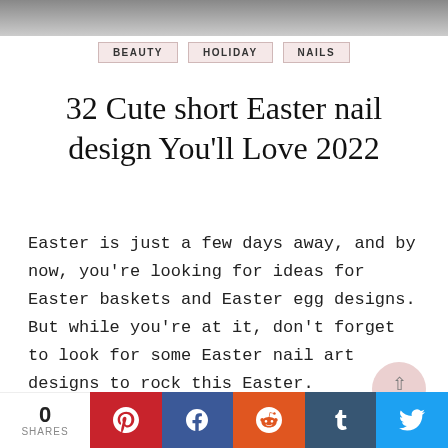[Figure (photo): Top image strip — partial photo, cropped at top]
BEAUTY   HOLIDAY   NAILS
32 Cute short Easter nail design You'll Love 2022
Easter is just a few days away, and by now, you're looking for ideas for Easter baskets and Easter egg designs. But while you're at it, don't forget to look for some Easter nail art designs to rock this Easter.
[Figure (photo): Bottom partial image strip — metallic/silver gradient photo]
0 SHARES